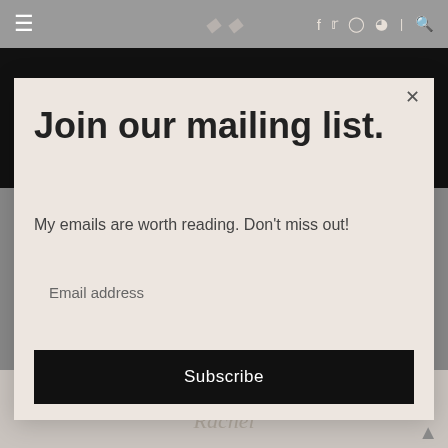≡   [logo]   f  t  ig  p  |  🔍
[Figure (screenshot): Dark photograph behind modal popup showing dimmed background]
Join our mailing list.
My emails are worth reading. Don't miss out!
Email address
Subscribe
Think you will try it?